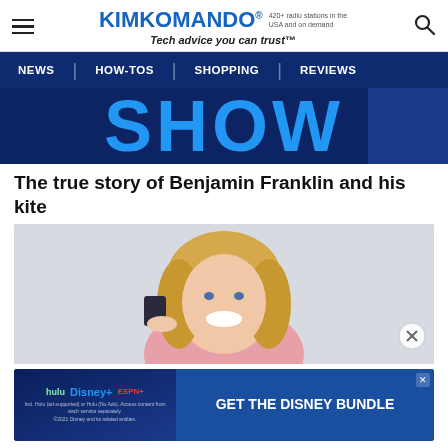KIM KOMANDO® — Tech advice you can trust™ — 420+ radio stations in the USA and on demand
NEWS | HOW-TOS | SHOPPING | REVIEWS
[Figure (screenshot): Dark blue banner with large light-blue text reading SHOW]
The true story of Benjamin Franklin and his kite
[Figure (photo): Smiling middle-aged blonde woman in pink top holding up a small dark card/device against a light grey background. A circular close (X) button appears at bottom right.]
[Figure (screenshot): Disney Bundle advertisement: left side shows Hulu, Disney+, ESPN+ logos with fine print; right side shows blue background with text GET THE DISNEY BUNDLE. An X close button in top right corner. Bottom has Learn More button.]
Hand
Sentiment: Intuition